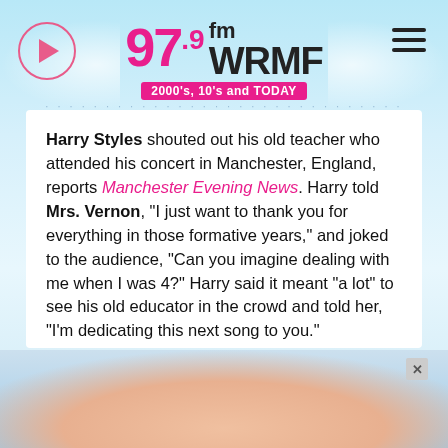[Figure (logo): 97.9 FM WRMF radio station logo with pink text and tagline '2000's, 10's and TODAY']
Harry Styles shouted out his old teacher who attended his concert in Manchester, England, reports Manchester Evening News. Harry told Mrs. Vernon, "I just want to thank you for everything in those formative years," and joked to the audience, "Can you imagine dealing with me when I was 4?" Harry said it meant "a lot" to see his old educator in the crowd and told her, "I'm dedicating this next song to you."
Copyright © 2022, ABC Audio. All rights reserved.
[Figure (photo): Advertisement banner showing a smiling woman]